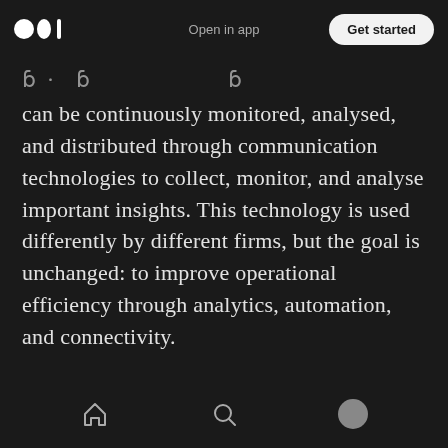Medium logo | Open in app | Get started
can be continuously monitored, analysed, and distributed through communication technologies to collect, monitor, and analyse important insights. This technology is used differently by different firms, but the goal is unchanged: to improve operational efficiency through analytics, automation, and connectivity.
Wearable devices can give companies insights into shop floor performance, such as by providing wearable devices to shop floor employees. Industrial companies can use these
Home | Search | Profile